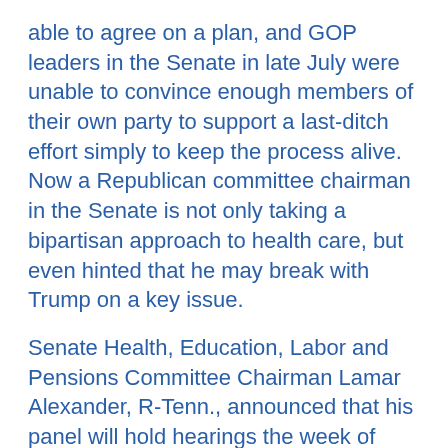able to agree on a plan, and GOP leaders in the Senate in late July were unable to convince enough members of their own party to support a last-ditch effort simply to keep the process alive. Now a Republican committee chairman in the Senate is not only taking a bipartisan approach to health care, but even hinted that he may break with Trump on a key issue.
Senate Health, Education, Labor and Pensions Committee Chairman Lamar Alexander, R-Tenn., announced that his panel will hold hearings the week of Sept. 4 “on the actions Congress should take to stabilize and strengthen the individual health insurance market.” What made the announcement especially notable was that Alexander indicated that he would be working